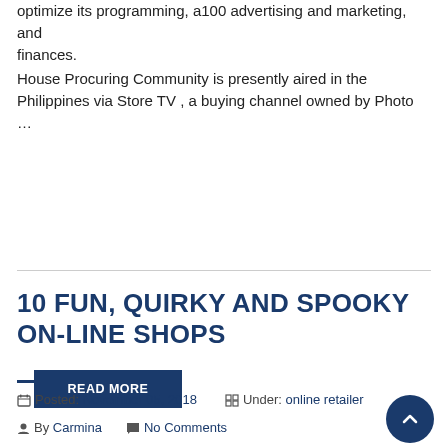optimize its programming, a100 advertising and marketing, and finances.
House Procuring Community is presently aired in the Philippines via Store TV , a buying channel owned by Photo …
READ MORE
10 FUN, QUIRKY AND SPOOKY ON-LINE SHOPS
Posted: November 05, 2018   Under: online retailer   By Carmina   No Comments